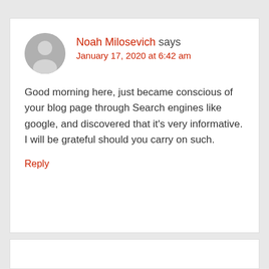Noah Milosevich says
January 17, 2020 at 6:42 am
Good morning here, just became conscious of your blog page through Search engines like google, and discovered that it's very informative. I will be grateful should you carry on such.
Reply